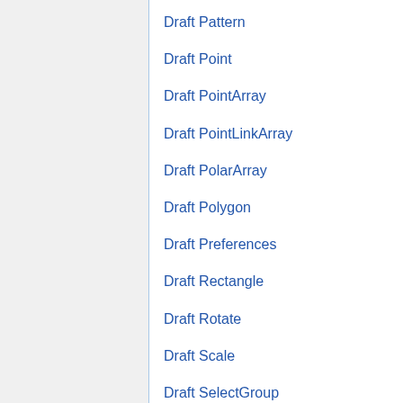Draft Pattern
Draft Point
Draft PointArray
Draft PointLinkArray
Draft PolarArray
Draft Polygon
Draft Preferences
Draft Rectangle
Draft Rotate
Draft Scale
Draft SelectGroup
Draft SelectPlane